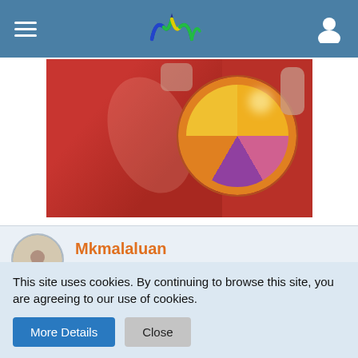[Figure (screenshot): Mobile app navigation bar with hamburger menu icon on left, colorful W-shaped logo in center, user profile icon on right, on a steel blue background]
[Figure (photo): Person holding a colorful water polo ball (orange, yellow, purple, magenta) against a red background]
[Figure (photo): Profile section with circular avatar of person in water, username Mkmalaluan in orange, and MR badge in dark background]
May 20th 2019
This site uses cookies. By continuing to browse this site, you are agreeing to our use of cookies.